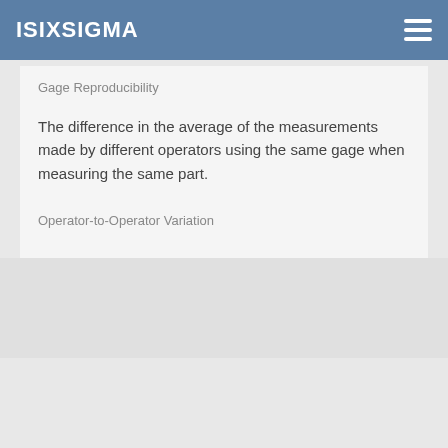iSixSigma
Gage Reproducibility
The difference in the average of the measurements made by different operators using the same gage when measuring the same part.
Operator-to-Operator Variation